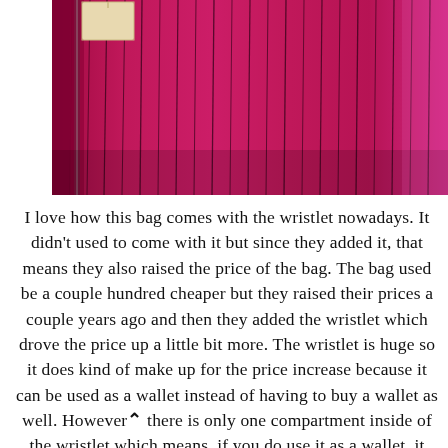[Figure (photo): Close-up photo of the interior of a pink/magenta handbag with vertical dark pinstripe lining and a zipper visible at the top left. A beige/cream label tag is also visible near the zipper.]
I love how this bag comes with the wristlet nowadays. It didn't used to come with it but since they added it, that means they also raised the price of the bag. The bag used be a couple hundred cheaper but they raised their prices a couple years ago and then they added the wristlet which drove the price up a little bit more. The wristlet is huge so it does kind of make up for the price increase because it can be used as a wallet instead of having to buy a wallet as well. However, there is only one compartment inside of the wristlet which means, if you do use it as a wallet, it might not